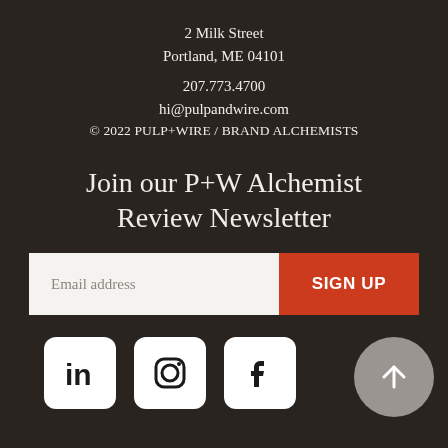2 Milk Street
Portland, ME 04101
207.773.4700
hi@pulpandwire.com
© 2022 PULP+WIRE / BRAND ALCHEMISTS
Join our P+W Alchemist Review Newsletter
Email address  SIGN UP
[Figure (infographic): Social media icons for LinkedIn, Instagram, and Facebook (white rounded square icons), plus a grey circular scroll-to-top arrow button]